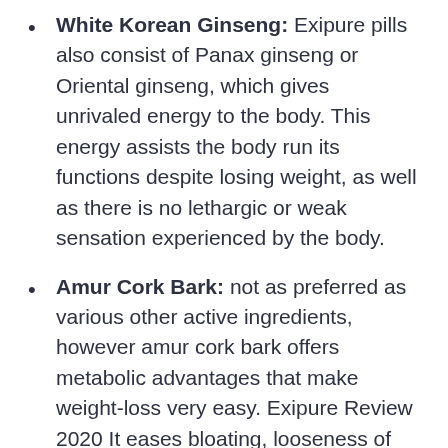White Korean Ginseng: Exipure pills also consist of Panax ginseng or Oriental ginseng, which gives unrivaled energy to the body. This energy assists the body run its functions despite losing weight, as well as there is no lethargic or weak sensation experienced by the body.
Amur Cork Bark: not as preferred as various other active ingredients, however amur cork bark offers metabolic advantages that make weight-loss very easy. Exipure Review 2020 It eases bloating, looseness of the bowels, aches, nausea, unwanted gas, and also various other conditions that prevail in overweight individuals.
Quercetin: Next on this checklist is quercetin, an active ingredient offering advantages for